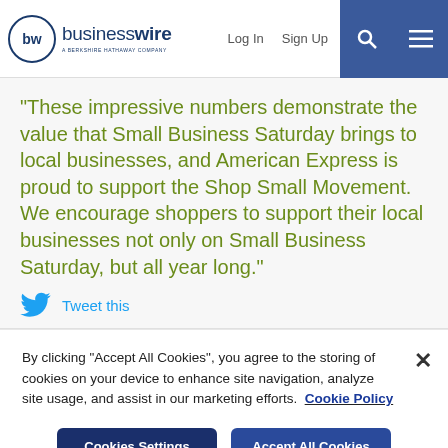businesswire — A BERKSHIRE HATHAWAY COMPANY | Log In | Sign Up
“These impressive numbers demonstrate the value that Small Business Saturday brings to local businesses, and American Express is proud to support the Shop Small Movement. We encourage shoppers to support their local businesses not only on Small Business Saturday, but all year long.”
Tweet this
By clicking “Accept All Cookies”, you agree to the storing of cookies on your device to enhance site navigation, analyze site usage, and assist in our marketing efforts. Cookie Policy
Cookies Settings
Accept All Cookies